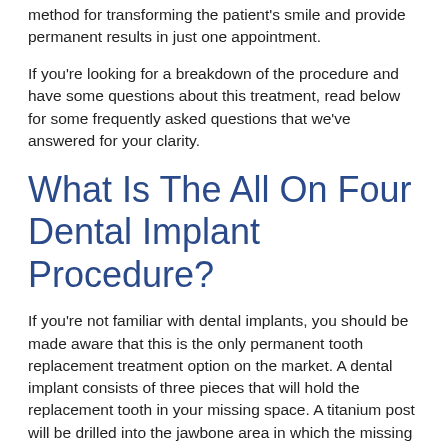method for transforming the patient's smile and provide permanent results in just one appointment.
If you're looking for a breakdown of the procedure and have some questions about this treatment, read below for some frequently asked questions that we've answered for your clarity.
What Is The All On Four Dental Implant Procedure?
If you're not familiar with dental implants, you should be made aware that this is the only permanent tooth replacement treatment option on the market. A dental implant consists of three pieces that will hold the replacement tooth in your missing space. A titanium post will be drilled into the jawbone area in which the missing space lies. Next, an abutment will be added on top of the post to provide the foundation for the fabricated tooth to be cemented. Finally, the dental professional will either cement or screw and a tooth replacement option such as a dental crown or a dental bridge to complete the dental implants process.